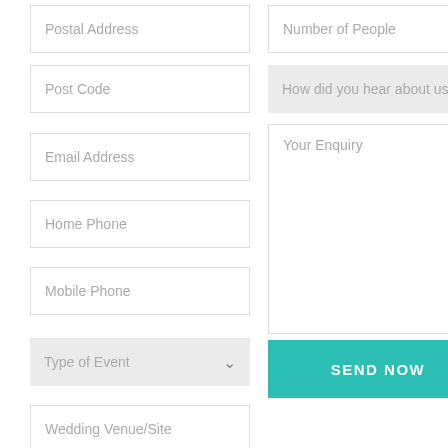Postal Address
Number of People
Post Code
How did you hear about us
Your Enquiry
Email Address
Home Phone
Mobile Phone
Type of Event
Wedding Venue/Site
SEND NOW
Search here...